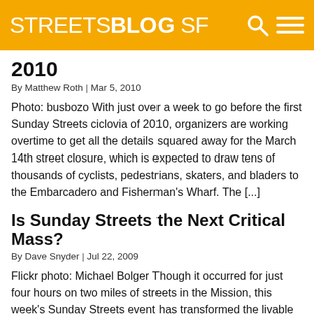STREETSBLOG SF
2010
By Matthew Roth | Mar 5, 2010
Photo: busbozo With just over a week to go before the first Sunday Streets ciclovia of 2010, organizers are working overtime to get all the details squared away for the March 14th street closure, which is expected to draw tens of thousands of cyclists, pedestrians, skaters, and bladers to the Embarcadero and Fisherman's Wharf. The [...]
Is Sunday Streets the Next Critical Mass?
By Dave Snyder | Jul 22, 2009
Flickr photo: Michael Bolger Though it occurred for just four hours on two miles of streets in the Mission, this week's Sunday Streets event has transformed the livable streets movement in some of the same ways that Critical Mass transformed San Francisco's bicycle rights movement